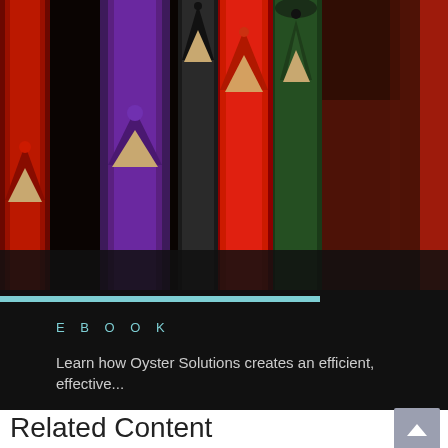[Figure (photo): Close-up photo of colored pencils (purple, red, black, green, red) arranged vertically with tips pointing upward, shot with bokeh background effect]
EBOOK
Learn how Oyster Solutions creates an efficient, effective...
Related Content